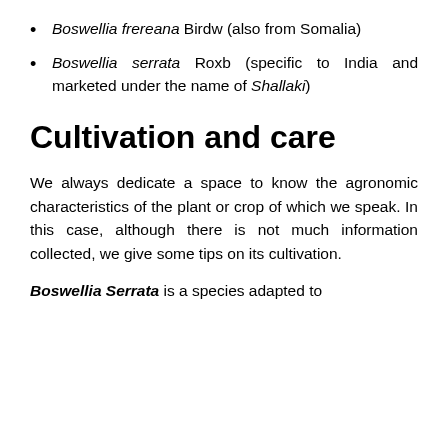Boswellia frereana Birdw (also from Somalia)
Boswellia serrata Roxb (specific to India and marketed under the name of Shallaki)
Cultivation and care
We always dedicate a space to know the agronomic characteristics of the plant or crop of which we speak. In this case, although there is not much information collected, we give some tips on its cultivation.
Boswellia Serrata is a species adapted to